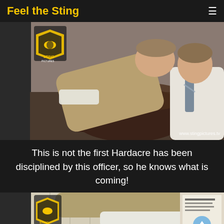Feel the Sting
[Figure (photo): Young man in khaki shirt bending over a dark brown leather ottoman/chair, with another man in white shirt and striped tie visible to the right. Logo watermark visible top-left. Website watermark www.stingpictures.tv bottom-right.]
This is not the first Hardacre has been disciplined by this officer, so he knows what is coming!
[Figure (photo): Partial view of a person bending over in a room with window blinds in the background and a poster on the right wall. Sting Pictures logo visible top-left.]